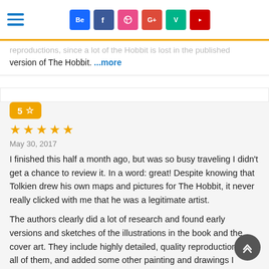[Figure (screenshot): Top navigation bar with hamburger menu icon on the left and social media icons (Behance, Facebook, Dribbble, Google+, Vine, YouTube) centered]
reproductions, since a lot of the Hobbit is lost in the published version of The Hobbit. ...more
5 ☆
★★★★★
May 30, 2017
I finished this half a month ago, but was so busy traveling I didn't get a chance to review it. In a word: great! Despite knowing that Tolkien drew his own maps and pictures for The Hobbit, it never really clicked with me that he was a legitimate artist.

The authors clearly did a lot of research and found early versions and sketches of the illustrations in the book and the cover art. They include highly detailed, quality reproductions of all of them, and added some other painting and drawings I finished this half a month ago, but was so busy traveling I didn't get a chance to review it. In a word: great! Despite knowing that Tolkien drew his own maps and pictures for The Hobbit, it never really clicked with